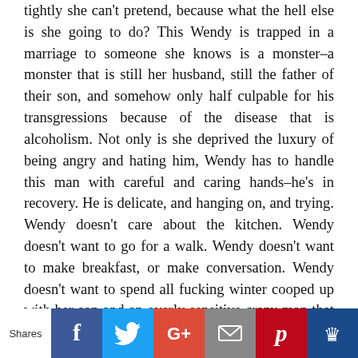tightly she can't pretend, because what the hell else is she going to do? This Wendy is trapped in a marriage to someone she knows is a monster–a monster that is still her husband, still the father of their son, and somehow only half culpable for his transgressions because of the disease that is alcoholism. Not only is she deprived the luxury of being angry and hating him, Wendy has to handle this man with careful and caring hands–he's in recovery. He is delicate, and hanging on, and trying. Wendy doesn't care about the kitchen. Wendy doesn't want to go for a walk. Wendy doesn't want to make breakfast, or make conversation. Wendy doesn't want to spend all fucking winter cooped up with her son and an overly sensitive crazy man that scares her. This is all evident in Duvall anytime she is not being seen by the other characters but is onscreen. The smile fades and the blankness
[Figure (infographic): Social sharing bar with Shares label and buttons: Facebook (blue), Twitter (light blue), Google+ (red-orange), Email (grey), Pinterest (red), crown/royalty icon (dark blue)]